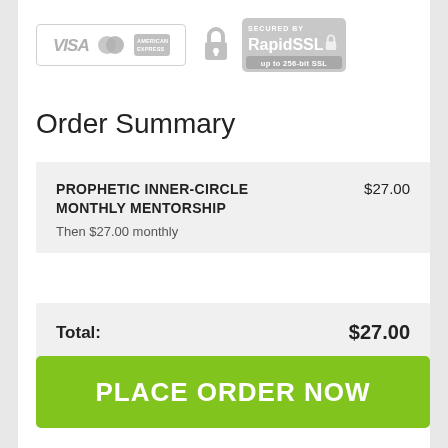[Figure (logo): Payment security badges: Visa, Mastercard, American Express card logos in a bordered box; a padlock icon; RapidSSL secured badge with up to 256-bit SSL text]
Order Summary
| Item | Price |
| --- | --- |
| PROPHETIC INNER-CIRCLE MONTHLY MENTORSHIP
Then $27.00 monthly | $27.00 |
| Total: | $27.00 |
| --- | --- |
PLACE ORDER NOW